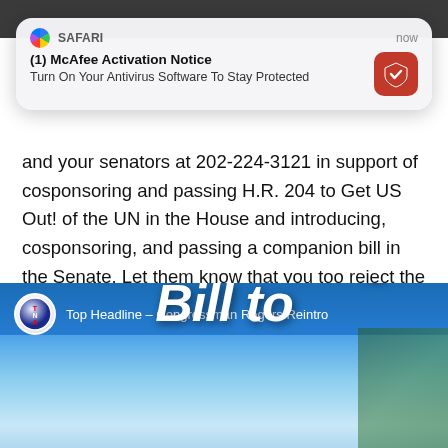[Figure (screenshot): Safari push notification from McAfee: '(1) McAfee Activation Notice — Turn On Your Antivirus Software To Stay Protected']
and your senators at 202-224-3121 in support of cosponsoring and passing H.R. 204 to Get US Out! of the UN in the House and introducing, cosponsoring, and passing a companion bill in the Senate. Let them know that you too reject the ideology of globalism and want Congress to likewise do the same by voting in favor of terminating U.S. membership in the United Nations.
[Figure (screenshot): TNA (The New American) video banner: 'Top Headline – Congressman Rogers Reintro...' with large text reading 'Reintroducing Bill to']